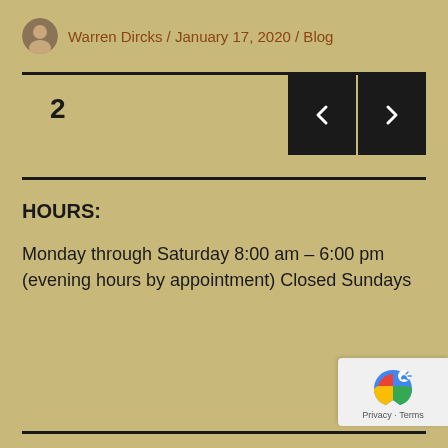Warren Dircks / January 17, 2020 / Blog
[Figure (other): Navigation block showing page number 2 with left and right arrow buttons]
HOURS:
Monday through Saturday 8:00 am - 6:00 pm (evening hours by appointment) Closed Sundays
[Figure (logo): Google reCAPTCHA badge with Privacy and Terms links]